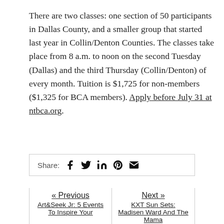There are two classes: one section of 50 participants in Dallas County, and a smaller group that started last year in Collin/Denton Counties. The classes take place from 8 a.m. to noon on the second Tuesday (Dallas) and the third Thursday (Collin/Denton) of every month. Tuition is $1,725 for non-members ($1,325 for BCA members). Apply before July 31 at ntbca.org.
Share:
« Previous
Art&Seek Jr: 5 Events To Inspire Your
Next »
KXT Sun Sets: Madisen Ward And The Mama